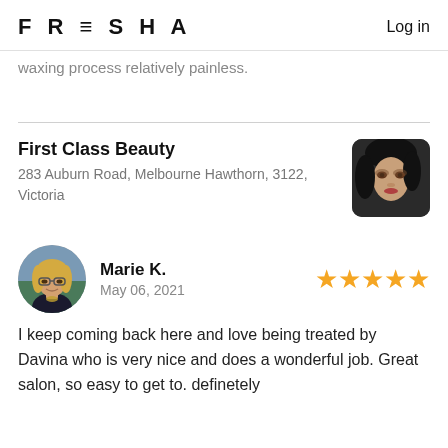FRESHA  Log in
waxing process relatively painless.
First Class Beauty
283 Auburn Road, Melbourne Hawthorn, 3122, Victoria
[Figure (photo): Profile photo of a woman's face, dark hair, dramatic makeup, rounded rectangle crop]
[Figure (photo): Circular avatar photo of a woman with blonde hair and glasses]
Marie K.
May 06, 2021
★★★★★
I keep coming back here and love being treated by Davina who is very nice and does a wonderful job. Great salon, so easy to get to. definetely